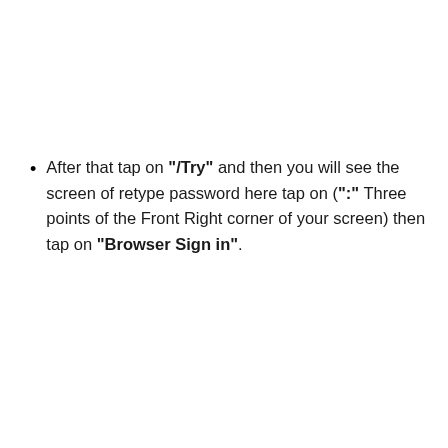After that tap on "/Try" and then you will see the screen of retype password here tap on (":" Three points of the Front Right corner of your screen) then tap on "Browser Sign in".